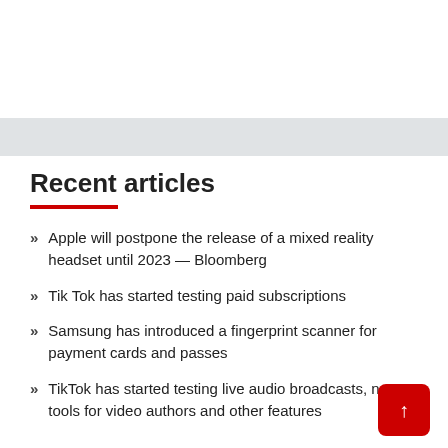Recent articles
Apple will postpone the release of a mixed reality headset until 2023 — Bloomberg
Tik Tok has started testing paid subscriptions
Samsung has introduced a fingerprint scanner for payment cards and passes
TikTok has started testing live audio broadcasts, new tools for video authors and other features